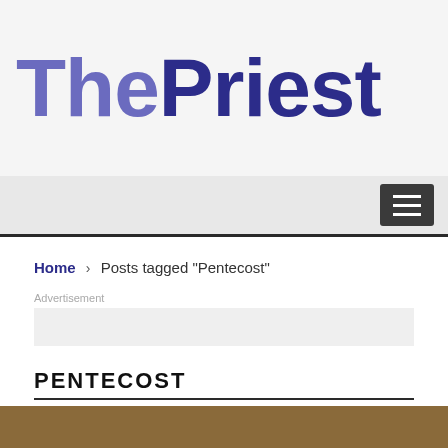ThePriest
[Figure (logo): ThePriest website logo with 'The' in medium purple and 'Priest' in dark navy blue, large bold font on light grey background]
[Figure (screenshot): Navigation bar with hamburger menu icon (three horizontal lines) on dark grey button, right-aligned]
Home > Posts tagged "Pentecost"
Advertisement
PENTECOST
[Figure (photo): Bottom strip showing partial image, brownish tones]